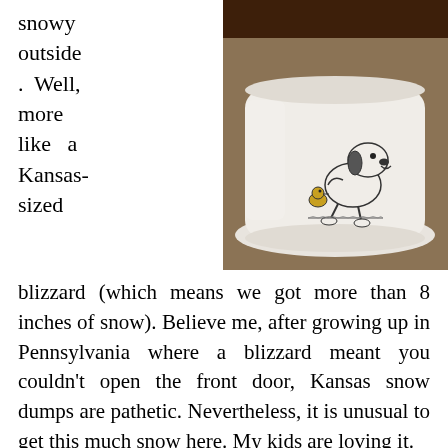snowy outside. Well, more like a Kansas-sized
[Figure (photo): A white ceramic mug featuring a Snoopy and Woodstock illustration, sitting on a white saucer, with a dark hot beverage visible at the top. The mug is placed on a light-colored surface.]
blizzard (which means we got more than 8 inches of snow). Believe me, after growing up in Pennsylvania where a blizzard meant you couldn't open the front door, Kansas snow dumps are pathetic. Nevertheless, it is unusual to get this much snow here. My kids are loving it.

No school.

Snow up over their knees = snowmen, snow forts, and snowball fights.